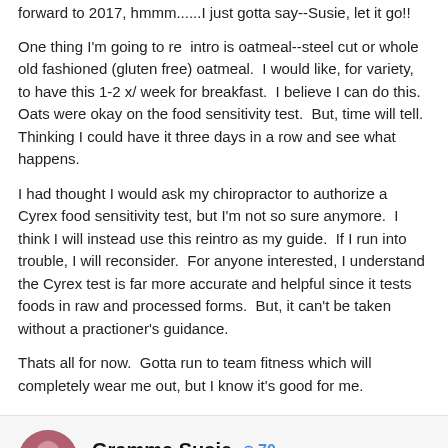forward to 2017, hmmm......I just gotta say--Susie, let it go!!
One thing I'm going to re intro is oatmeal--steel cut or whole old fashioned (gluten free) oatmeal. I would like, for variety, to have this 1-2 x/ week for breakfast. I believe I can do this. Oats were okay on the food sensitivity test. But, time will tell. Thinking I could have it three days in a row and see what happens.
I had thought I would ask my chiropractor to authorize a Cyrex food sensitivity test, but I'm not so sure anymore. I think I will instead use this reintro as my guide. If I run into trouble, I will reconsider. For anyone interested, I understand the Cyrex test is far more accurate and helpful since it tests foods in raw and processed forms. But, it can't be taken without a practioner's guidance.
Thats all for now. Gotta run to team fitness which will completely wear me out, but I know it's good for me.
Gramma Susie  +70  Posted March 1, 2017
comment preview text